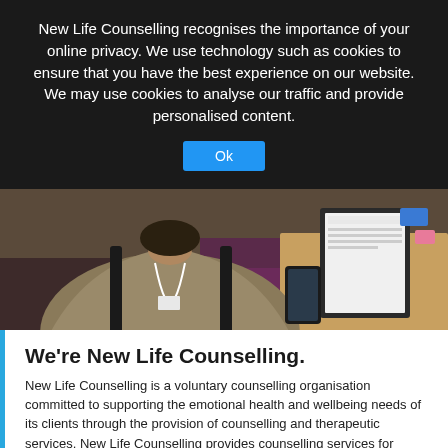New Life Counselling recognises the importance of your online privacy. We use technology such as cookies to ensure that you have the best experience on our website. We may use cookies to analyse our traffic and provide personalised content.
Ok
[Figure (photo): A person seen from behind, seated at a desk with a clipboard and papers, working in what appears to be a counselling or office setting.]
We're New Life Counselling.
New Life Counselling is a voluntary counselling organisation committed to supporting the emotional health and wellbeing needs of its clients through the provision of counselling and therapeutic services. New Life Counselling provides counselling services for children, young people, adults and families.
READ MORE